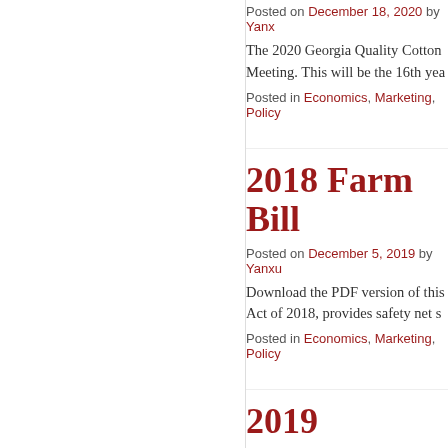Posted on December 18, 2020 by Yanx
The 2020 Georgia Quality Cotton Meeting. This will be the 16th yea
Posted in Economics, Marketing, Policy
2018 Farm Bill
Posted on December 5, 2019 by Yanxu
Download the PDF version of this Act of 2018, provides safety net s
Posted in Economics, Marketing, Policy
2019 Georgia C
Posted on December 5, 2019 by Yanxu
The 2019 Georgia Quality Cotton Commission Annual Meeting at th